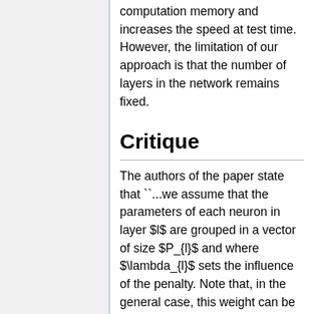computation memory and increases the speed at test time. However, the limitation of our approach is that the number of layers in the network remains fixed.
Critique
The authors of the paper state that ``...we assume that the parameters of each neuron in layer $l$ are grouped in a vector of size $P_{l}$ and where $\lambda_{l}$ sets the influence of the penalty. Note that, in the general case, this weight can be different for each layer $l$. In practice, however, we found most effective to have two different weights: a relatively small one for the first few layers, and a larger weight for the remaining ones. This effectively prevents